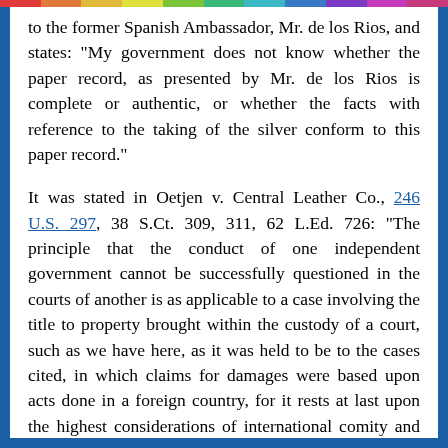to the former Spanish Ambassador, Mr. de los Rios, and states: "My government does not know whether the paper record, as presented by Mr. de los Rios is complete or authentic, or whether the facts with reference to the taking of the silver conform to this paper record."
It was stated in Oetjen v. Central Leather Co., 246 U.S. 297, 38 S.Ct. 309, 311, 62 L.Ed. 726: "The principle that the conduct of one independent government cannot be successfully questioned in the courts of another is as applicable to a case involving the title to property brought within the custody of a court, such as we have here, as it was held to be to the cases cited, in which claims for damages were based upon acts done in a foreign country, for it rests at last upon the highest considerations of international comity and expediency. To permit the validity of the acts of one sovereign state to be reexamined and perhaps condemned by the courts of another would very